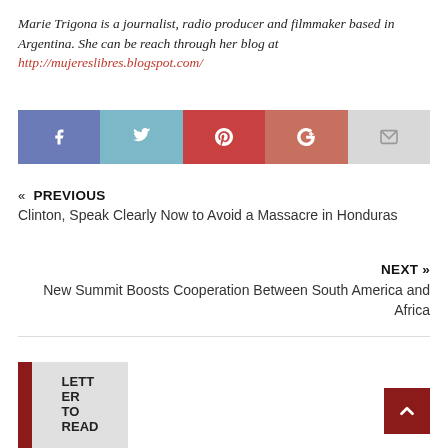Marie Trigona is a journalist, radio producer and filmmaker based in Argentina. She can be reach through her blog at http://mujereslibres.blogspot.com/
[Figure (infographic): Social sharing buttons bar: Facebook (blue), Twitter (light blue), Pinterest (red), Google+ (salmon/red), Email (light gray)]
« PREVIOUS
Clinton, Speak Clearly Now to Avoid a Massacre in Honduras
NEXT »
New Summit Boosts Cooperation Between South America and Africa
[Figure (other): LETTER TO READ label block with red left bar and gray background, and a back-to-top red button]